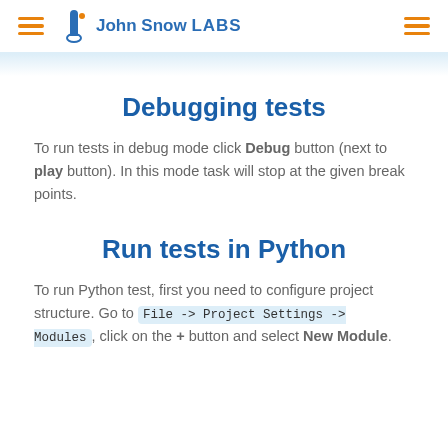John Snow LABS
Debugging tests
To run tests in debug mode click Debug button (next to play button). In this mode task will stop at the given break points.
Run tests in Python
To run Python test, first you need to configure project structure. Go to File -> Project Settings -> Modules, click on the + button and select New Module.